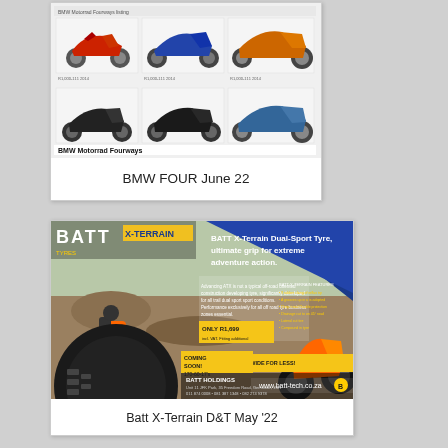[Figure (screenshot): Screenshot of BMW Motorrad Fourways dealership page showing a grid of 6 BMW motorcycles in various colors with the text BMW Motorrad Fourways at the bottom]
BMW FOUR June 22
[Figure (screenshot): Advertisement for BATT X-Terrain Dual-Sport Tyre showing riders on dirt bikes, tyre closeup, price ONLY R1,699, COMING SOON 170-60-17s, www.batt-tech.co.za]
Batt X-Terrain D&T May &#039;22